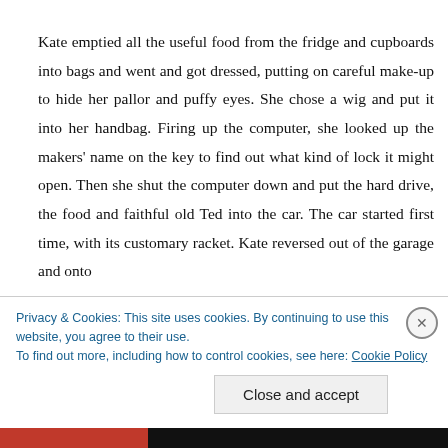Kate emptied all the useful food from the fridge and cupboards into bags and went and got dressed, putting on careful make-up to hide her pallor and puffy eyes. She chose a wig and put it into her handbag. Firing up the computer, she looked up the makers' name on the key to find out what kind of lock it might open. Then she shut the computer down and put the hard drive, the food and faithful old Ted into the car. The car started first time, with its customary racket. Kate reversed out of the garage and onto
Privacy & Cookies: This site uses cookies. By continuing to use this website, you agree to their use.
To find out more, including how to control cookies, see here: Cookie Policy
Close and accept